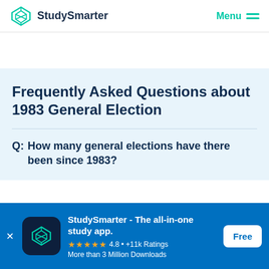StudySmarter  Menu
Frequently Asked Questions about 1983 General Election
Q:  How many general elections have there been since 1983?
StudySmarter - The all-in-one study app.  ★★★★★ 4.8 • +11k Ratings  More than 3 Million Downloads  Free